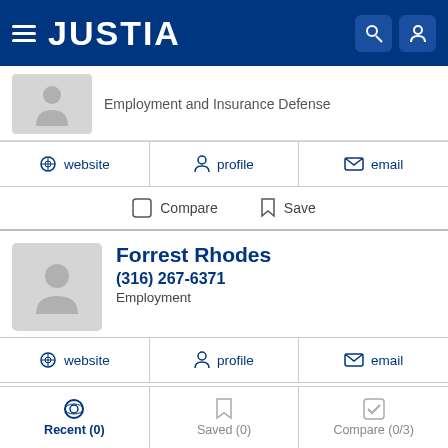JUSTIA
Employment and Insurance Defense
website  profile  email
Compare  Save
Forrest Rhodes
(316) 267-6371
Employment
website  profile  email
Compare  Save
Jay Rector
Recent (0)  Saved (0)  Compare (0/3)